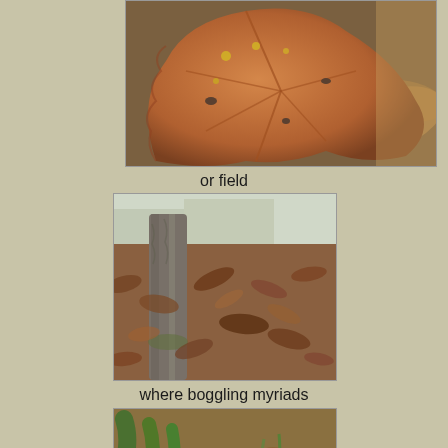[Figure (photo): Close-up photograph of a large brown autumn leaf with yellow spots and holes, lying on ground among other leaves and vegetation]
or field
[Figure (photo): Photograph of a tree trunk surrounded by a dense carpet of fallen brown leaves on the ground, with a building visible in the background]
where boggling myriads
[Figure (photo): Close-up photograph of dead leaves and grass on the ground with green plant leaves visible]